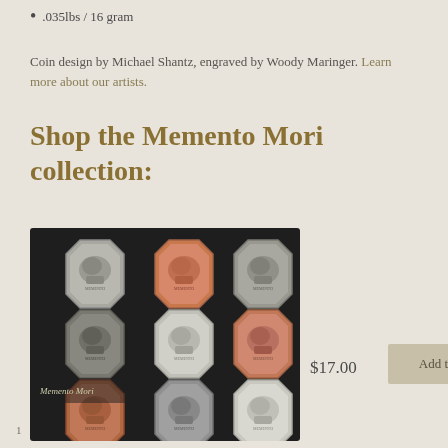.035lbs / 16 gram
Coin design by Michael Shantz, engraved by Woody Maringer. Learn more about our artists.
Shop the Memento Mori collection:
[Figure (photo): Grid of 9 octagonal Memento Mori coins in various metal finishes (silver, copper, dark) each featuring a skull design with crossbones and text reading 'MEMENTO VIVERE']
$17.00
Add to cart
1